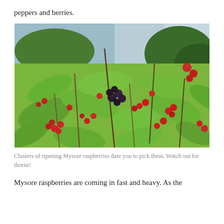peppers and berries.
[Figure (photo): Clusters of ripening Mysore raspberries on thorny canes with green leaves and a partially cloudy sky in the background. Berries range from red to dark purple-black at various stages of ripening.]
Clusters of ripening Mysore raspberries dare you to pick them. Watch out for thorns!
Mysore raspberries are coming in fast and heavy. As the